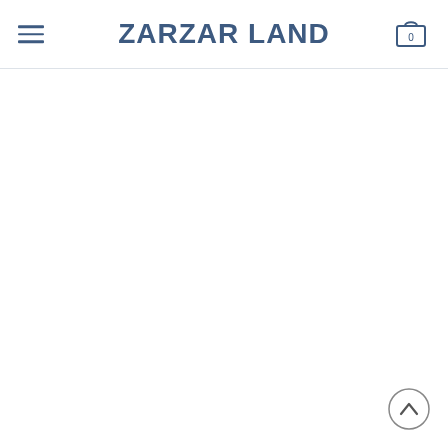ZARZAR LAND
[Figure (other): Empty white content area below the navigation header]
[Figure (other): Scroll-to-top circular button with upward chevron arrow in the bottom-right corner]